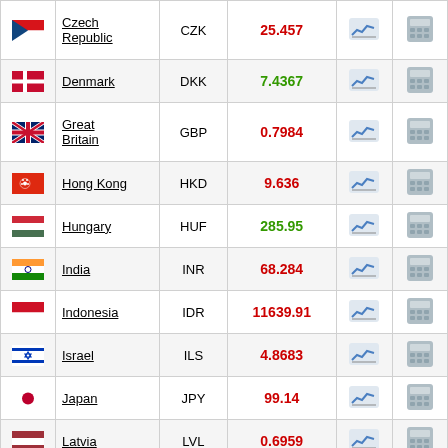| Flag | Country | Code | Rate | Chart | Calc |
| --- | --- | --- | --- | --- | --- |
| 🇨🇿 | Czech Republic | CZK | 25.457 | chart | calc |
| 🇩🇰 | Denmark | DKK | 7.4367 | chart | calc |
| 🇬🇧 | Great Britain | GBP | 0.7984 | chart | calc |
| 🇭🇰 | Hong Kong | HKD | 9.636 | chart | calc |
| 🇭🇺 | Hungary | HUF | 285.95 | chart | calc |
| 🇮🇳 | India | INR | 68.284 | chart | calc |
| 🇮🇩 | Indonesia | IDR | 11639.91 | chart | calc |
| 🇮🇱 | Israel | ILS | 4.8683 | chart | calc |
| 🇯🇵 | Japan | JPY | 99.14 | chart | calc |
| 🇱🇻 | Latvia | LVL | 0.6959 | chart | calc |
| 🇱🇹 | Lithuania | LTL | 3.4528 | chart | calc |
| 🇲🇾 | Malaysia | MYR | 3.9313 | chart | calc |
| 🇲🇽 | Mexico | MXN | 16.5626 | chart | calc |